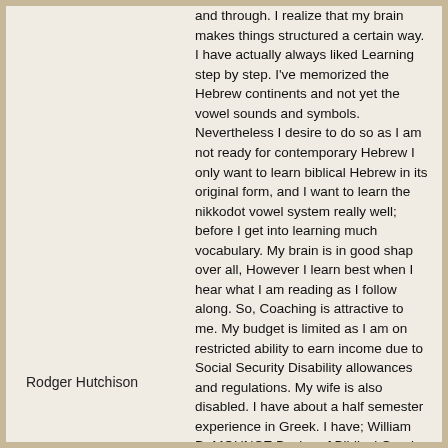and through. I realize that my brain makes things structured a certain way. I have actually always liked Learning step by step. I've memorized the Hebrew continents and not yet the vowel sounds and symbols. Nevertheless I desire to do so as I am not ready for contemporary Hebrew I only want to learn biblical Hebrew in its original form, and I want to learn the nikkodot vowel system really well; before I get into learning much vocabulary. My brain is in good shap over all, However I learn best when I hear what I am reading as I follow along. So, Coaching is attractive to me. My budget is limited as I am on restricted ability to earn income due to Social Security Disability allowances and regulations. My wife is also disabled. I have about a half semester experience in Greek. I have; William D. MOUNCE Basics of Biblical Greek textbook and workbook and the box of Greek flash cards. Miles and PRATICO Basics of Biblical Hebrew textbook Biblical Hebrew Step by Step Monsoor Volume 1& 2 paperback textbooks I have other resources in ebook format I even have some William D. Barrick Hebrew video lessons saved to
Rodger Hutchison